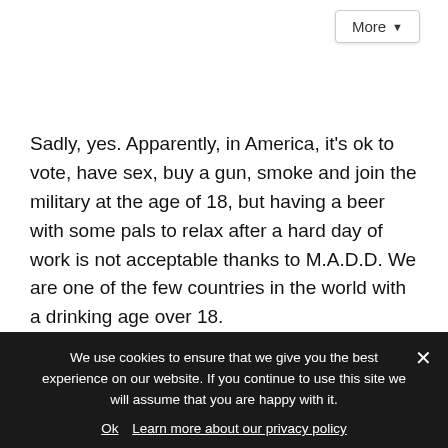More ▾
Sadly, yes. Apparently, in America, it's ok to vote, have sex, buy a gun, smoke and join the military at the age of 18, but having a beer with some pals to relax after a hard day of work is not acceptable thanks to M.A.D.D. We are one of the few countries in the world with a drinking age over 18.
However, we can drive at the age of 16 is how I turn that ...
[Figure (infographic): Follow me on: social media modal with icons for Facebook, Instagram, Pinterest, Twitter, Bloglovin, RSS feed, and text 'Or sign up to my newsletter']
We use cookies to ensure that we give you the best experience on our website. If you continue to use this site we will assume that you are happy with it.
Ok  Learn more about our privacy policy